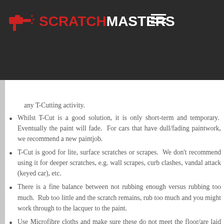ScratchMasters
any T-Cutting activity.
Whilst T-Cut is a good solution, it is only short-term and temporary. Eventually the paint will fade. For cars that have dull/fading paintwork, we recommend a new paintjob.
T-Cut is good for lite, surface scratches or scrapes. We don't recommend using it for deeper scratches, e.g. wall scrapes, curb clashes, vandal attack (keyed car), etc.
There is a fine balance between not rubbing enough versus rubbing too much. Rub too little and the scratch remains, rub too much and you might work through to the lacquer to the paint.
Use Microfibre cloths and make sure these do not meet the floor/are laid anywhere they can pick up dirt/dust particles as these could